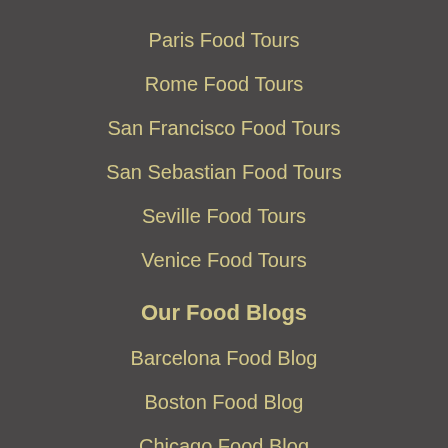Paris Food Tours
Rome Food Tours
San Francisco Food Tours
San Sebastian Food Tours
Seville Food Tours
Venice Food Tours
Our Food Blogs
Barcelona Food Blog
Boston Food Blog
Chicago Food Blog
Florence Food Blog
Lisbon Food Blog